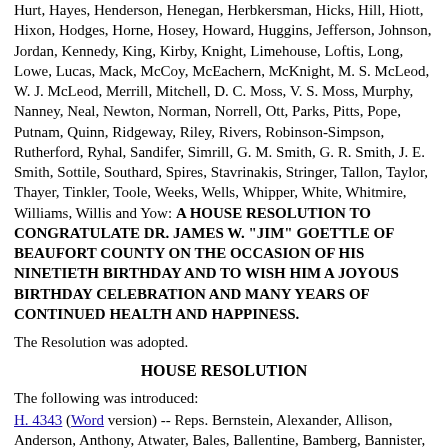Hurt, Hayes, Henderson, Henegan, Herbkersman, Hicks, Hill, Hiott, Hixon, Hodges, Horne, Hosey, Howard, Huggins, Jefferson, Johnson, Jordan, Kennedy, King, Kirby, Knight, Limehouse, Loftis, Long, Lowe, Lucas, Mack, McCoy, McEachern, McKnight, M. S. McLeod, W. J. McLeod, Merrill, Mitchell, D. C. Moss, V. S. Moss, Murphy, Nanney, Neal, Newton, Norman, Norrell, Ott, Parks, Pitts, Pope, Putnam, Quinn, Ridgeway, Riley, Rivers, Robinson-Simpson, Rutherford, Ryhal, Sandifer, Simrill, G. M. Smith, G. R. Smith, J. E. Smith, Sottile, Southard, Spires, Stavrinakis, Stringer, Tallon, Taylor, Thayer, Tinkler, Toole, Weeks, Wells, Whipper, White, Whitmire, Williams, Willis and Yow: A HOUSE RESOLUTION TO CONGRATULATE DR. JAMES W. "JIM" GOETTLE OF BEAUFORT COUNTY ON THE OCCASION OF HIS NINETIETH BIRTHDAY AND TO WISH HIM A JOYOUS BIRTHDAY CELEBRATION AND MANY YEARS OF CONTINUED HEALTH AND HAPPINESS.
The Resolution was adopted.
HOUSE RESOLUTION
The following was introduced:
H. 4343 (Word version) -- Reps. Bernstein, Alexander, Allison, Anderson, Anthony, Atwater, Bales, Ballentine, Bamberg, Bannister, Bedingfield, Bingham, Bowers, Bradley, Brannon, G. A.